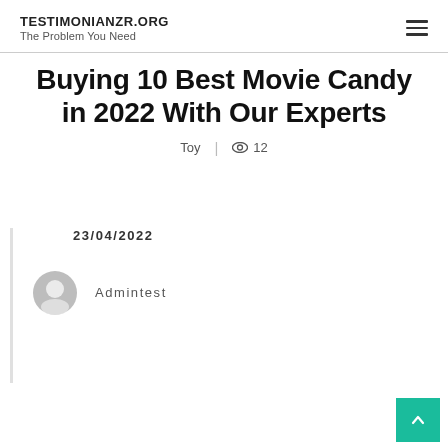TESTIMONIANZR.ORG
The Problem You Need
Buying 10 Best Movie Candy in 2022 With Our Experts
Toy | 👁 12
23/04/2022
Admintest